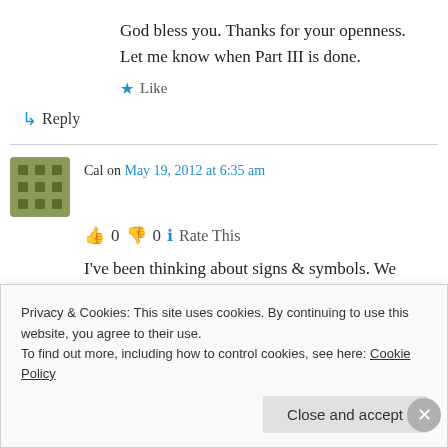God bless you. Thanks for your openness. Let me know when Part III is done.
★ Like
↳ Reply
Cal on May 19, 2012 at 6:35 am
👍 0 👎 0 ℹ Rate This
I've been thinking about signs & symbols. We
Privacy & Cookies: This site uses cookies. By continuing to use this website, you agree to their use.
To find out more, including how to control cookies, see here: Cookie Policy
Close and accept